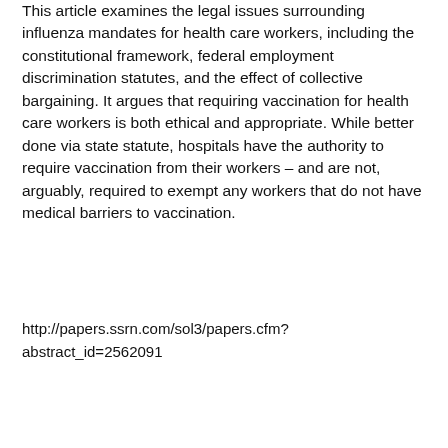This article examines the legal issues surrounding influenza mandates for health care workers, including the constitutional framework, federal employment discrimination statutes, and the effect of collective bargaining. It argues that requiring vaccination for health care workers is both ethical and appropriate. While better done via state statute, hospitals have the authority to require vaccination from their workers – and are not, arguably, required to exempt any workers that do not have medical barriers to vaccination.
http://papers.ssrn.com/sol3/papers.cfm?abstract_id=2562091